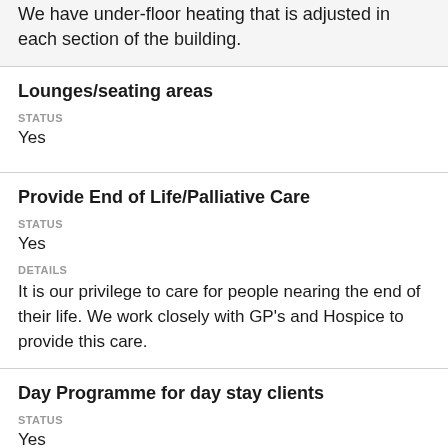We have under-floor heating that is adjusted in each section of the building.
Lounges/seating areas
STATUS
Yes
Provide End of Life/Palliative Care
STATUS
Yes
DETAILS
It is our privilege to care for people nearing the end of their life. We work closely with GP's and Hospice to provide this care.
Day Programme for day stay clients
STATUS
Yes